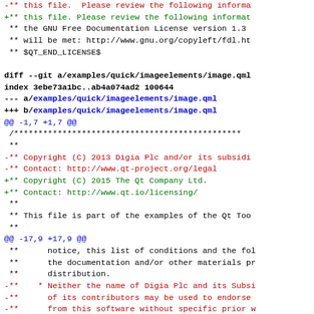diff --git a/examples/quick/imageelements/image.qml ... (git diff output showing file changes)